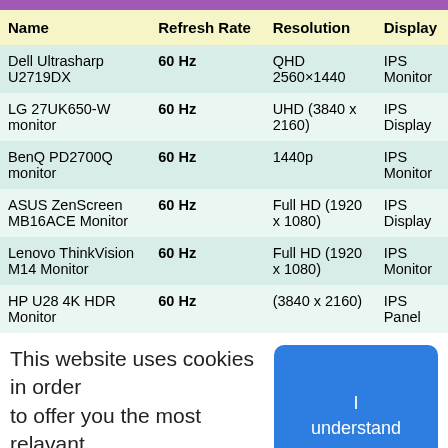| Name | Refresh Rate | Resolution | Display |
| --- | --- | --- | --- |
| Dell Ultrasharp U2719DX | 60 Hz | QHD
2560×1440 | IPS
Monitor |
| LG 27UK650-W monitor | 60 Hz | UHD (3840 x 2160) | IPS
Display |
| BenQ PD2700Q monitor | 60 Hz | 1440p | IPS
Monitor |
| ASUS ZenScreen MB16ACE Monitor | 60 Hz | Full HD (1920 x 1080) | IPS
Display |
| Lenovo ThinkVision M14 Monitor | 60 Hz | Full HD (1920 x 1080) | IPS
Monitor |
| HP U28 4K HDR Monitor | 60 Hz | (3840 x 2160) | IPS
Panel |
This website uses cookies in order to offer you the most relavant information.